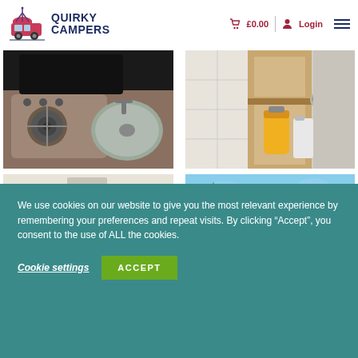Quirky Campers — £0.00 Login
[Figure (photo): Campervan interior: open hob with two burners and integrated circular sink, stainless steel, viewed from above]
[Figure (photo): Campervan storage cupboard open, showing yellow gas canister, white water container, and dustpan hanging on door]
[Figure (photo): Campervan interior looking out through large window or open rear door to mountain scenery]
[Figure (photo): Outdoor scenery with green pine trees against blue sky]
We use cookies on our website to give you the most relevant experience by remembering your preferences and repeat visits. By clicking “Accept”, you consent to the use of ALL the cookies.
Cookie settings
ACCEPT